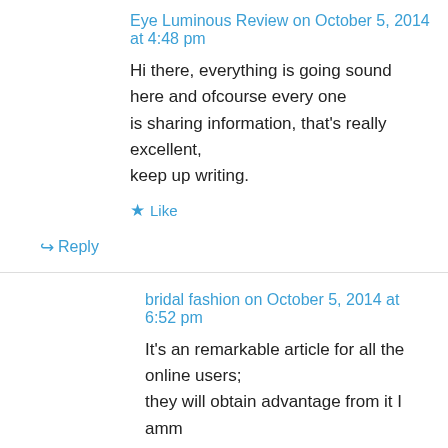Eye Luminous Review on October 5, 2014 at 4:48 pm
Hi there, everything is going sound here and ofcourse every one is sharing information, that’s really excellent, keep up writing.
★ Like
↪ Reply
bridal fashion on October 5, 2014 at 6:52 pm
It’s an remarkable article for all the online users; they will obtain advantage from it I amm sure.
★ Like